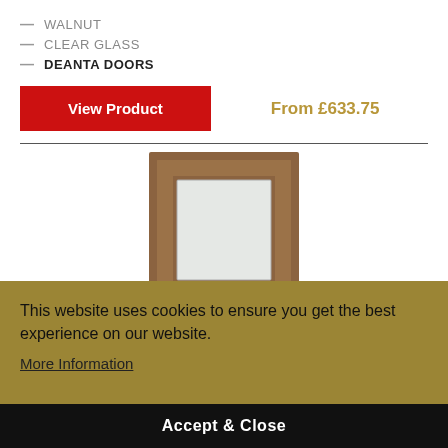— WALNUT
— CLEAR GLASS
— DEANTA DOORS
View Product  From £633.75
[Figure (photo): Walnut door with clear glass panel inset, shown as product thumbnail]
This website uses cookies to ensure you get the best experience on our website.
More Information
Accept & Close